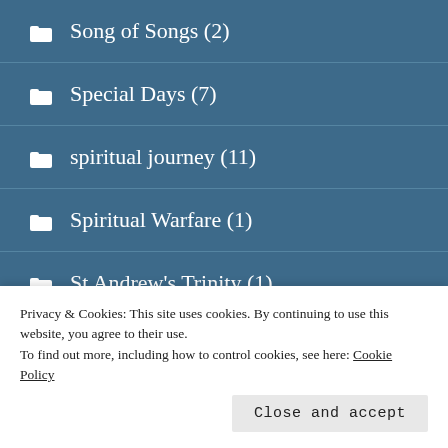Song of Songs (2)
Special Days (7)
spiritual journey (11)
Spiritual Warfare (1)
St Andrew's Trinity (1)
statement of Christian faith (5)
strength (2)
Privacy & Cookies: This site uses cookies. By continuing to use this website, you agree to their use.
To find out more, including how to control cookies, see here: Cookie Policy
Close and accept